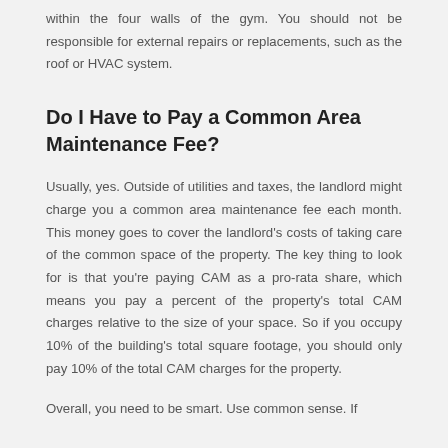within the four walls of the gym. You should not be responsible for external repairs or replacements, such as the roof or HVAC system.
Do I Have to Pay a Common Area Maintenance Fee?
Usually, yes. Outside of utilities and taxes, the landlord might charge you a common area maintenance fee each month. This money goes to cover the landlord's costs of taking care of the common space of the property. The key thing to look for is that you're paying CAM as a pro-rata share, which means you pay a percent of the property's total CAM charges relative to the size of your space. So if you occupy 10% of the building's total square footage, you should only pay 10% of the total CAM charges for the property.
Overall, you need to be smart. Use common sense. If